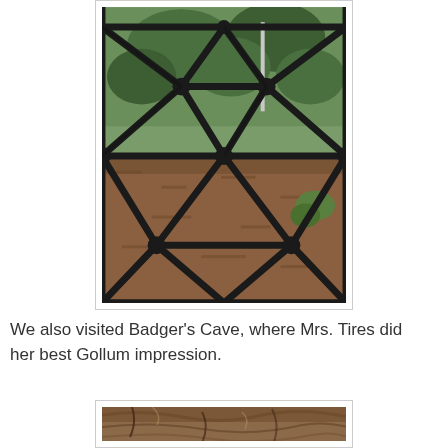[Figure (photo): Photo of a geodesic dome structure made of dark metal struts forming triangular and hexagonal patterns, viewed from inside. Evergreen trees and plants visible through the framework. Ground covered with mulch and leaves.]
We also visited Badger's Cave, where Mrs. Tires did her best Gollum impression.
[Figure (photo): Partial photo of the inside of a cave showing rocky brown textured cave ceiling/walls.]